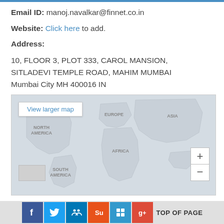Email ID: manoj.navalkar@finnet.co.in
Website: Click here to add.
Address:
10, FLOOR 3, PLOT 333, CAROL MANSION, SITLADEVI TEMPLE ROAD, MAHIM MUMBAI Mumbai City MH 400016 IN
[Figure (map): Google Maps world map showing continents with a 'View larger map' button and zoom controls. Shows NORTH AMERICA, EUROPE, AFRICA, SOUTH AMERICA, ASIA labels on a light grey map.]
Social share icons (Facebook, Twitter, LinkedIn, StumbleUpon, Delicious, Google+) and TOP OF PAGE link